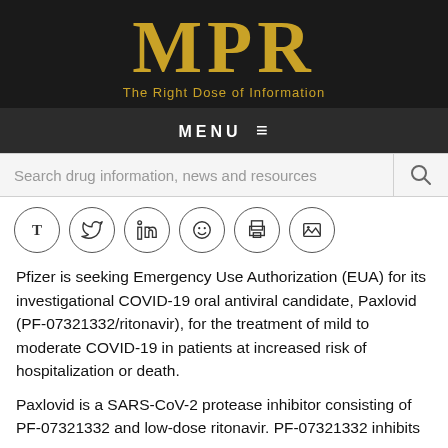[Figure (logo): MPR logo — gold serif letters on black background with tagline 'The Right Dose of Information']
MENU ≡
Search drug information, news and resources
[Figure (other): Row of six circular social sharing icons: T (text), Twitter bird, LinkedIn in, Reddit alien, print/copy, image/gallery]
Pfizer is seeking Emergency Use Authorization (EUA) for its investigational COVID-19 oral antiviral candidate, Paxlovid (PF-07321332/ritonavir), for the treatment of mild to moderate COVID-19 in patients at increased risk of hospitalization or death.
Paxlovid is a SARS-CoV-2 protease inhibitor consisting of PF-07321332 and low-dose ritonavir. PF-07321332 inhibits